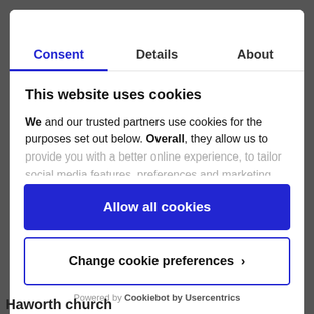Consent | Details | About
This website uses cookies
We and our trusted partners use cookies for the purposes set out below. Overall, they allow us to provide you with a better online experience, to tailor social media features, preferences and marketing, and
Allow all cookies
Change cookie preferences >
Powered by Cookiebot by Usercentrics
Haworth church